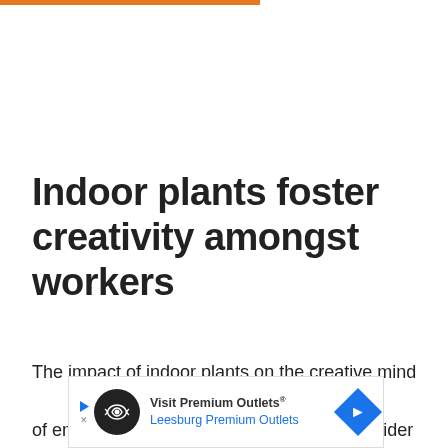Indoor plants foster creativity amongst workers
The impact of indoor plants on the creative mind of employees is another vital reason to consider
[Figure (other): Advertisement banner for Visit Premium Outlets - Leesburg Premium Outlets with logo and arrow icon]